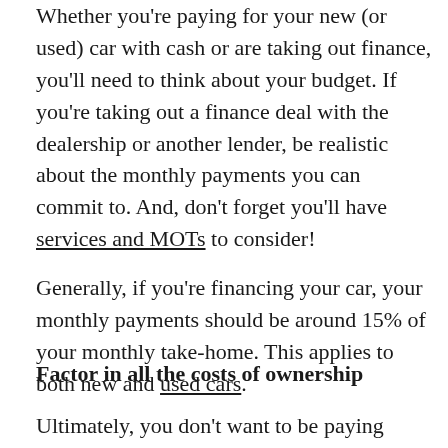Whether you're paying for your new (or used) car with cash or are taking out finance, you'll need to think about your budget. If you're taking out a finance deal with the dealership or another lender, be realistic about the monthly payments you can commit to. And, don't forget you'll have services and MOTs to consider!
Generally, if you're financing your car, your monthly payments should be around 15% of your monthly take-home. This applies to both new and used cars.
Factor in all the costs of ownership
Ultimately, you don't want to be paying through